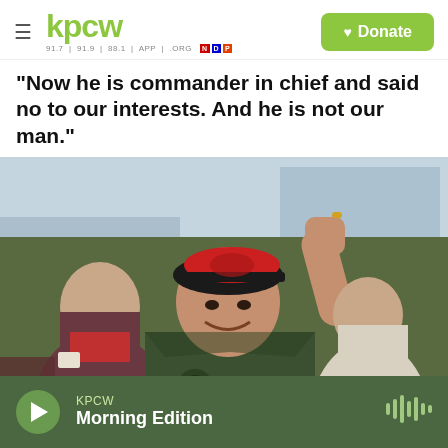kpcw — 91.7 | 91.9 | 88.1 | APP | .ORG — Donate
"Now he is commander in chief and said no to our interests. And he is not our man."
[Figure (photo): Man in military-style jacket and red cap with fist raised, surrounded by people, photographed outdoors]
KPCW
Morning Edition